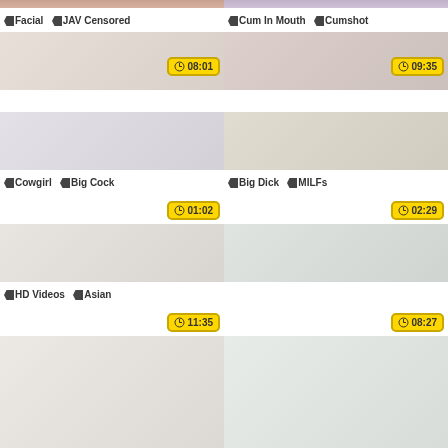[Figure (screenshot): Video thumbnail grid - top left partial, tags: Facial, JAV Censored, duration 08:01]
[Figure (screenshot): Video thumbnail grid - top right partial, tags: Cum In Mouth, Cumshot, duration 09:35]
[Figure (screenshot): Video thumbnail - tags: Cowgirl, Big Cock, duration 01:02]
[Figure (screenshot): Video thumbnail - tags: Big Dick, MILFs, duration 02:29]
[Figure (screenshot): Video thumbnail - tags: HD Videos, Asian, duration 11:35]
[Figure (screenshot): Video thumbnail - duration 08:27]